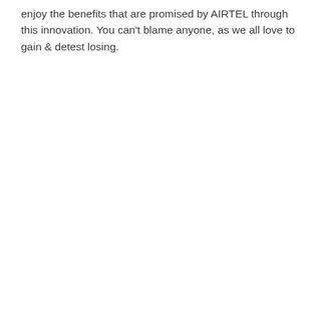enjoy the benefits that are promised by AIRTEL through this innovation. You can't blame anyone, as we all love to gain & detest losing.